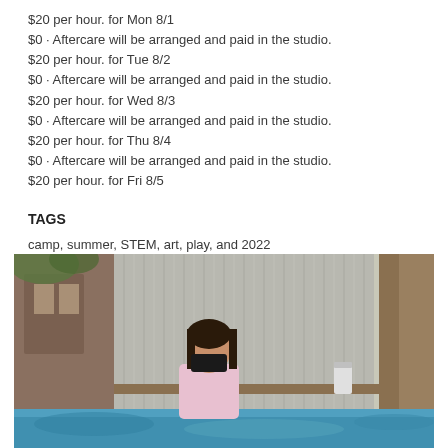$20 per hour. for Mon 8/1
$0 · Aftercare will be arranged and paid in the studio.
$20 per hour. for Tue 8/2
$0 · Aftercare will be arranged and paid in the studio.
$20 per hour. for Wed 8/3
$0 · Aftercare will be arranged and paid in the studio.
$20 per hour. for Thu 8/4
$0 · Aftercare will be arranged and paid in the studio.
$20 per hour. for Fri 8/5
TAGS
camp, summer, STEM, art, play, and 2022
[Figure (photo): A child wearing a pink shirt and black face mask sits at a blue painted table outdoors, with a corrugated metal wall, wooden structure, tree trunk, and greenery in the background.]